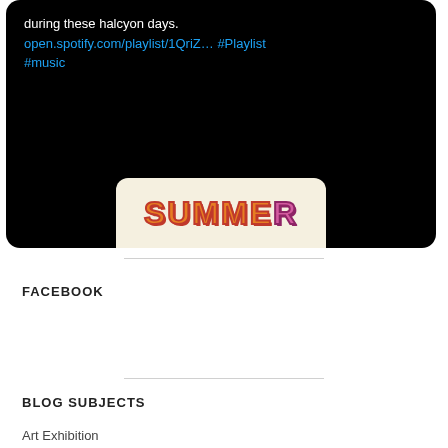[Figure (screenshot): Tweet card with dark background showing text 'during these halcyon days.' with a Spotify link and hashtags #Playlist #music, plus a partial album art preview at the bottom showing 'SUMMER' text]
FACEBOOK
BLOG SUBJECTS
Art Exhibition
Arts Culture